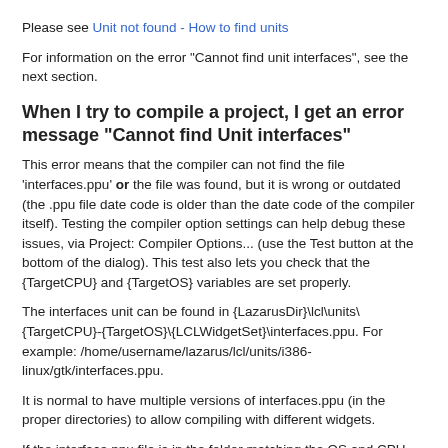Please see Unit not found - How to find units
For information on the error "Cannot find unit interfaces", see the next section.
When I try to compile a project, I get an error message "Cannot find Unit interfaces"
This error means that the compiler can not find the file 'interfaces.ppu' or the file was found, but it is wrong or outdated (the .ppu file date code is older than the date code of the compiler itself). Testing the compiler option settings can help debug these issues, via Project: Compiler Options... (use the Test button at the bottom of the dialog). This test also lets you check that the {TargetCPU} and {TargetOS} variables are set properly.
The interfaces unit can be found in {LazarusDir}\lcl\units\{TargetCPU}-{TargetOS}\{LCLWidgetSet}\interfaces.ppu. For example: /home/username/lazarus/lcl/units/i386-linux/gtk/interfaces.ppu.
It is normal to have multiple versions of interfaces.ppu (in the proper directories) to allow compiling with different widgets.
If the interface.ppu file is in the folder matching the OS and CPU you selected in the project preferences, and you get this error, you are using a different compiler / RTL for compiling your project than you used for compiling your Lazarus IDE, or the libraries need to be recompiled to give the .ppu files newer compilation dates.